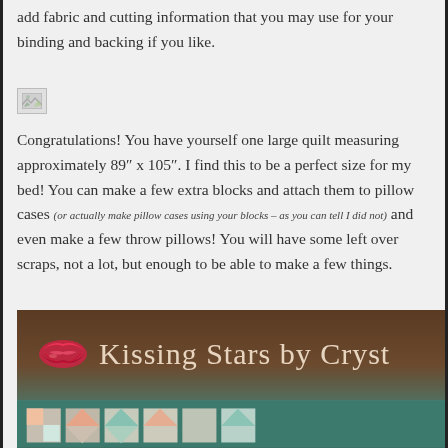add fabric and cutting information that you may use for your binding and backing if you like.
[Figure (photo): Broken/missing image placeholder icon]
Congratulations! You have yourself one large quilt measuring approximately 89" x 105". I find this to be a perfect size for my bed! You can make a few extra blocks and attach them to pillow cases (or actually make pillow cases using your blocks – as you can tell I did not) and even make a few throw pillows! You will have some left over scraps, not a lot, but enough to be able to make a few things.
[Figure (photo): Photo of a wooden sign reading 'Kissing Stars by Cryst' with a lips logo and teal quilt blocks below]